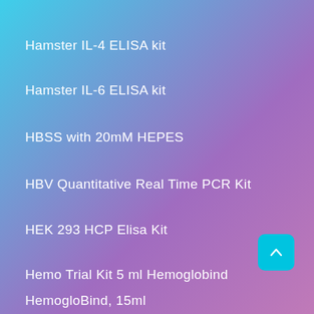Hamster IL-4 ELISA kit
Hamster IL-6 ELISA kit
HBSS with 20mM HEPES
HBV Quantitative Real Time PCR Kit
HEK 293 HCP Elisa Kit
Hemo Trial Kit 5 ml Hemoglobind
HemogloBind, 15ml